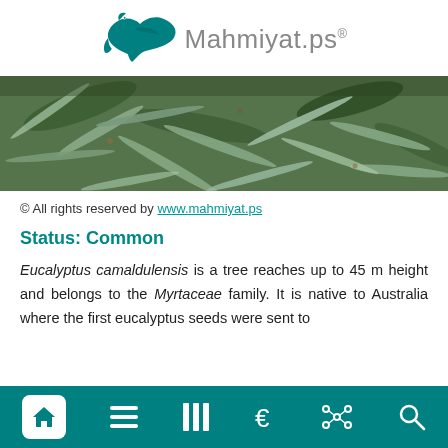Mahmiyat.ps®
[Figure (photo): Close-up photo of eucalyptus tree branches with long narrow grayish-green leaves]
© All rights reserved by www.mahmiyat.ps
Status: Common
Eucalyptus camaldulensis is a tree reaches up to 45 m height and belongs to the Myrtaceae family. It is native to Australia where the first eucalyptus seeds were sent to